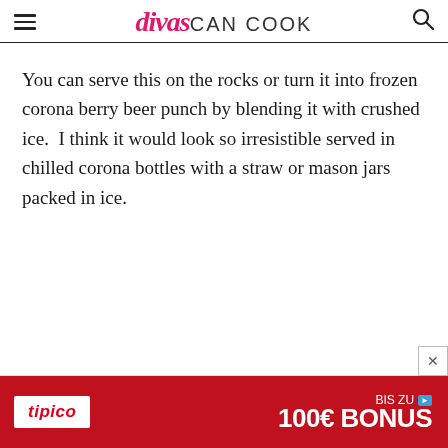divas CAN COOK
You can serve this on the rocks or turn it into frozen corona berry beer punch by blending it with crushed ice.  I think it would look so irresistible served in chilled corona bottles with a straw or mason jars packed in ice.
[Figure (screenshot): Advertisement banner for Tipico with text 'BIS ZU 100€ BONUS' on red background]